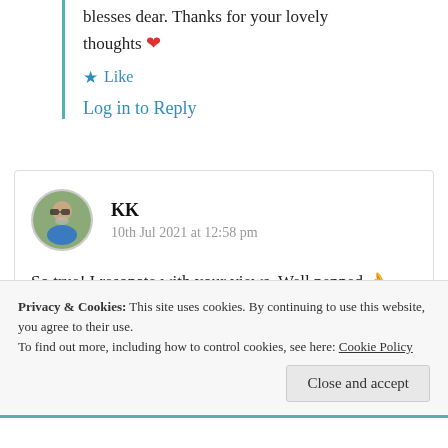blesses dear. Thanks for your lovely thoughts ❤️
★ Like
Log in to Reply
KK
10th Jul 2021 at 12:58 pm
So true! I resonate with your views. Well penned 👌
🌟
Privacy & Cookies: This site uses cookies. By continuing to use this website, you agree to their use.
To find out more, including how to control cookies, see here: Cookie Policy
Close and accept